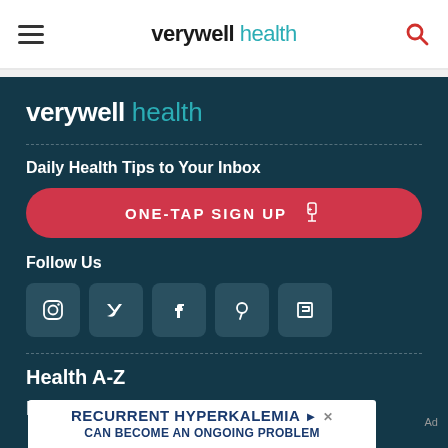verywell health
[Figure (logo): Verywell Health logo — 'verywell' in bold dark font, 'health' in teal light font]
Daily Health Tips to Your Inbox
ONE-TAP SIGN UP
Follow Us
[Figure (illustration): Social media icons: Instagram, Twitter, Facebook, Pinterest, Flipboard]
Health A-Z
Prevention & Treatment
RECURRENT HYPERKALEMIA CAN BECOME AN ONGOING PROBLEM